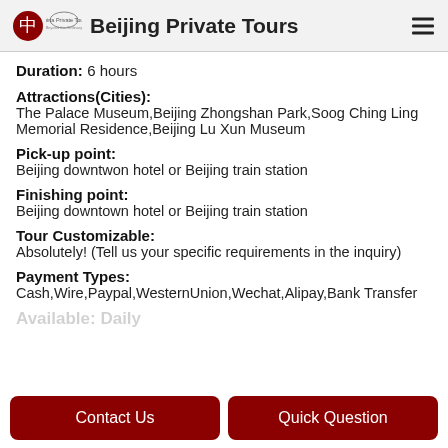Beijing Private Tours
Duration: 6 hours
Attractions(Cities): The Palace Museum,Beijing Zhongshan Park,Soog Ching Ling Memorial Residence,Beijing Lu Xun Museum
Pick-up point: Beijing downtwon hotel or Beijing train station
Finishing point: Beijing downtown hotel or Beijing train station
Tour Customizable: Absolutely! (Tell us your specific requirements in the inquiry)
Payment Types: Cash,Wire,Paypal,WesternUnion,Wechat,Alipay,Bank Transfer
Available: Daily
Contact Us
Quick Question